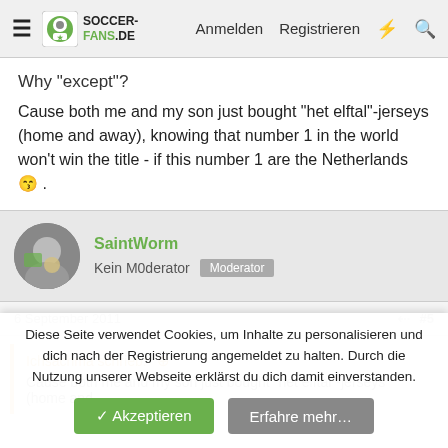SoccerFans.de — Anmelden  Registrieren
Why "except"?
Cause both me and my son just bought "het elftal"-jerseys (home and away), knowing that number 1 in the world won't win the title - if this number 1 are the Netherlands 😁 .
SaintWorm
Kein M0derator  Moderator
6 September 2011  #5
Ichsachma schrieb:
Cause both me and my son just bought "het elftal"-jerseys (home and
Diese Seite verwendet Cookies, um Inhalte zu personalisieren und dich nach der Registrierung angemeldet zu halten. Durch die Nutzung unserer Webseite erklärst du dich damit einverstanden.